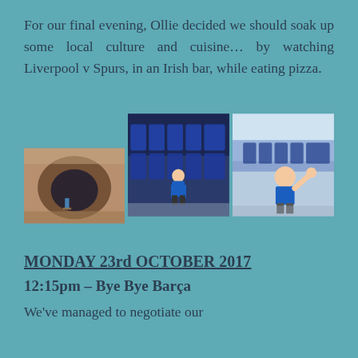For our final evening, Ollie decided we should soak up some local culture and cuisine… by watching Liverpool v Spurs, in an Irish bar, while eating pizza.
[Figure (photo): Three photographs: left photo shows a child standing in a stadium tunnel/entrance, center photo shows a child posing in stadium seating area, right photo shows a child waving at the camera in stadium seating.]
MONDAY 23rd OCTOBER 2017
12:15pm – Bye Bye Barça
We've managed to negotiate our